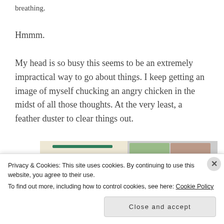breathing.
Hmmm.
My head is so busy this seems to be an extremely impractical way to go about things. I keep getting an image of myself chucking an angry chicken in the midst of all those thoughts. At the very least, a feather duster to clear things out.
[Figure (screenshot): Partial screenshot of a food/recipe website showing a beige card with a green bar and profile icon on the left, and a grid of food photography thumbnails on the right.]
Privacy & Cookies: This site uses cookies. By continuing to use this website, you agree to their use.
To find out more, including how to control cookies, see here: Cookie Policy
Close and accept